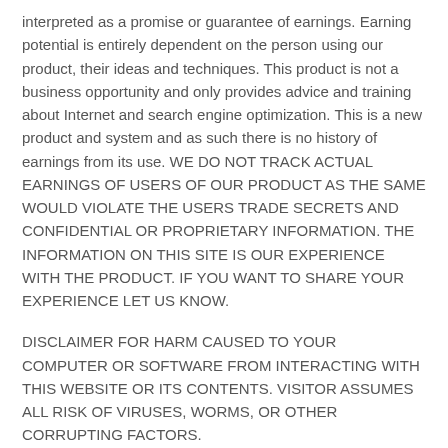interpreted as a promise or guarantee of earnings. Earning potential is entirely dependent on the person using our product, their ideas and techniques. This product is not a business opportunity and only provides advice and training about Internet and search engine optimization. This is a new product and system and as such there is no history of earnings from its use. WE DO NOT TRACK ACTUAL EARNINGS OF USERS OF OUR PRODUCT AS THE SAME WOULD VIOLATE THE USERS TRADE SECRETS AND CONFIDENTIAL OR PROPRIETARY INFORMATION. THE INFORMATION ON THIS SITE IS OUR EXPERIENCE WITH THE PRODUCT. IF YOU WANT TO SHARE YOUR EXPERIENCE LET US KNOW.
DISCLAIMER FOR HARM CAUSED TO YOUR COMPUTER OR SOFTWARE FROM INTERACTING WITH THIS WEBSITE OR ITS CONTENTS. VISITOR ASSUMES ALL RISK OF VIRUSES, WORMS, OR OTHER CORRUPTING FACTORS.
The website assumes no responsibility for damage to computers or software of the visitor or any person the visitor subsequently communicates with from corrupting code or data that is inadvertently passed to the visitor's computer. Again, visitor views and interacts